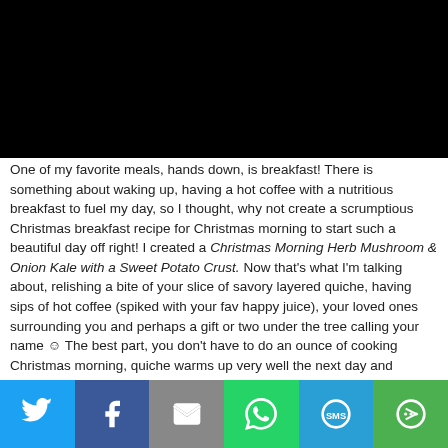[Figure (photo): Black rectangle image area at top of page]
One of my favorite meals, hands down, is breakfast! There is something about waking up, having a hot coffee with a nutritious breakfast to fuel my day, so I thought, why not create a scrumptious Christmas breakfast recipe for Christmas morning to start such a beautiful day off right! I created a Christmas Morning Herb Mushroom & Onion Kale with a Sweet Potato Crust. Now that's what I'm talking about, relishing a bite of your slice of savory layered quiche, having sips of hot coffee (spiked with your fav happy juice), your loved ones surrounding you and perhaps a gift or two under the tree calling your name ☺ The best part, you don't have to do an ounce of cooking Christmas morning, quiche warms up very well the next day and usually tastes even better! So make it the day before
[Figure (infographic): Social share bar with Twitter, Facebook, Email, WhatsApp, SMS, and More buttons]